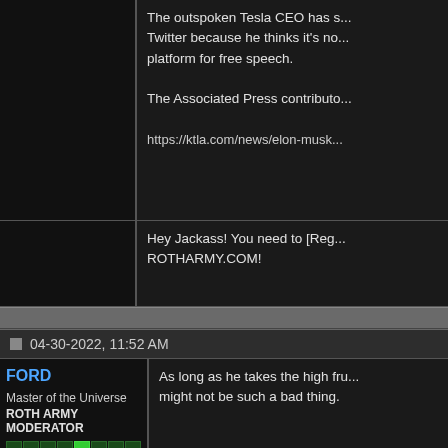The outspoken Tesla CEO has s... Twitter because he thinks it's no... platform for free speech.

The Associated Press contributo...

https://ktla.com/news/elon-musk...
Hey Jackass! You need to [Reg... ROTHARMY.COM!
04-30-2022, 11:52 AM
FORD
Master of the Universe
ROTH ARMY MODERATOR
As long as he takes the high fru... might not be such a bad thing.